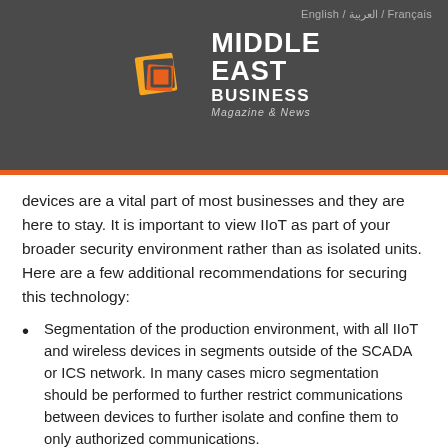English / العربية / Français
[Figure (logo): Middle East Business Magazine & News logo with orange/red nested square icon and white bold text]
devices are a vital part of most businesses and they are here to stay. It is important to view IIoT as part of your broader security environment rather than as isolated units. Here are a few additional recommendations for securing this technology:
Segmentation of the production environment, with all IIoT and wireless devices in segments outside of the SCADA or ICS network. In many cases micro segmentation should be performed to further restrict communications between devices to further isolate and confine them to only authorized communications.
Network Access Control for accurate information